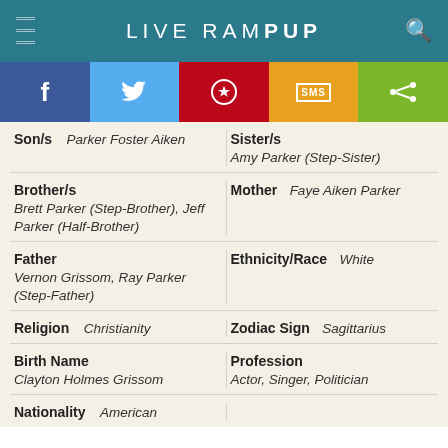LIVE RAMPUP
[Figure (infographic): Social media sharing buttons: Facebook, Twitter, Pinterest, SMS, Share]
| Son/s | Parker Foster Aiken | Sister/s | Amy Parker (Step-Sister) |
| Brother/s | Brett Parker (Step-Brother), Jeff Parker (Half-Brother) | Mother | Faye Aiken Parker |
| Father | Vernon Grissom, Ray Parker (Step-Father) | Ethnicity/Race | White |
| Religion | Christianity | Zodiac Sign | Sagittarius |
| Birth Name | Clayton Holmes Grissom | Profession | Actor, Singer, Politician |
| Nationality | American |  |  |